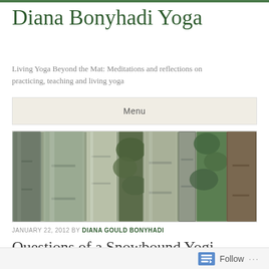Diana Bonyhadi Yoga
Living Yoga Beyond the Mat: Meditations and reflections on practicing, teaching and living yoga
Menu
[Figure (photo): Close-up photograph of tall bamboo stalks in a forest, with green leaves visible in the background. Black and white tones with some green foliage.]
JANUARY 22, 2012 BY DIANA GOULD BONYHADI
Questions of a Snowbound Yogi
Follow